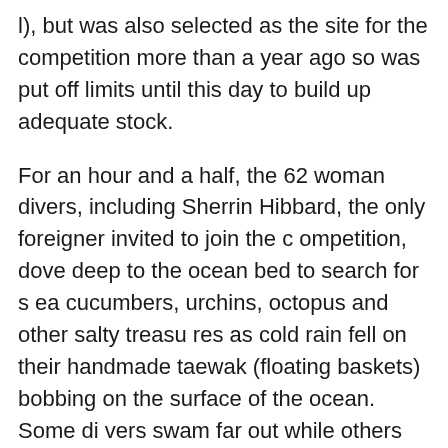l), but was also selected as the site for the competition more than a year ago so was put off limits until this day to build up adequate stock.
For an hour and a half, the 62 woman divers, including Sherrin Hibbard, the only foreigner invited to join the competition, dove deep to the ocean bed to search for sea cucumbers, urchins, octopus and other salty treasures as cold rain fell on their handmade taewak (floating baskets) bobbing on the surface of the ocean. Some divers swam far out while others stayed closer to the shore, their black wetsuits like oil spots on the face of the water.
On land the party continued as free bowls of steaming noodles, plates of cooked black pig and bottles of soju